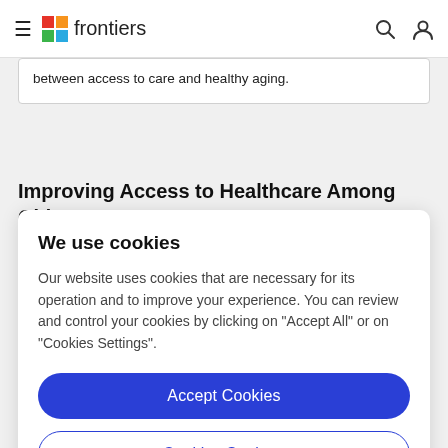frontiers
between access to care and healthy aging.
Improving Access to Healthcare Among Older
We use cookies
Our website uses cookies that are necessary for its operation and to improve your experience. You can review and control your cookies by clicking on "Accept All" or on "Cookies Settings".
Accept Cookies
Cookies Settings